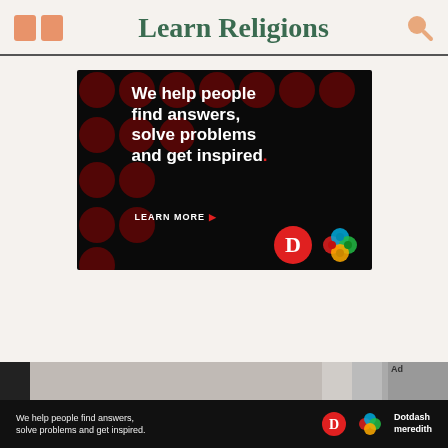Learn Religions
[Figure (infographic): Dotdash Meredith advertisement: dark background with red polka dots, white bold text reading 'We help people find answers, solve problems and get inspired.' with 'LEARN MORE' button and Dotdash and Meredith logos]
[Figure (infographic): Bottom banner ad strip: 'We help people find answers, solve problems and get inspired.' with Dotdash D logo and Dotdash meredith branding on black background]